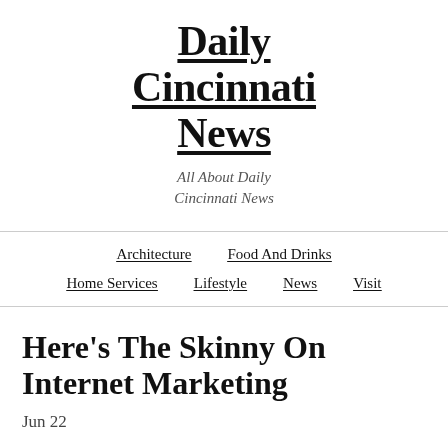Daily Cincinnati News
All About Daily Cincinnati News
Architecture
Food And Drinks
Home Services
Lifestyle
News
Visit
Here's The Skinny On Internet Marketing
Jun 22